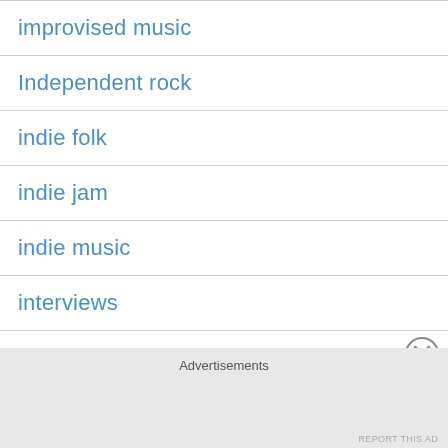improvised music
Independent rock
indie folk
indie jam
indie music
interviews
Jazz
King Pizza
Advertisements